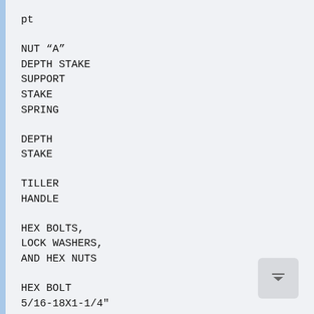pt
NUT “A”
DEPTH STAKE
SUPPORT
STAKE
SPRING
DEPTH
STAKE
TILLER
HANDLE
HEX BOLTS,
LOCK WASHERS,
AND HEX NUTS
HEX BOLT
5/16-18X1-1/4"